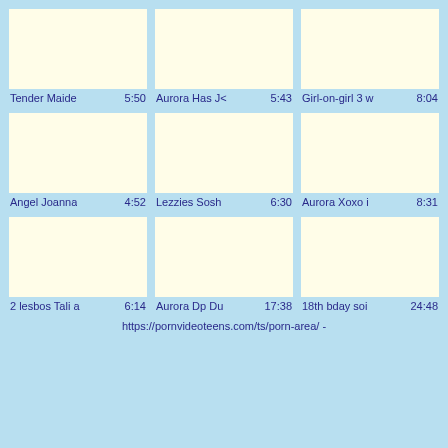[Figure (screenshot): Thumbnail placeholder 1 - cream colored box]
[Figure (screenshot): Thumbnail placeholder 2 - cream colored box]
[Figure (screenshot): Thumbnail placeholder 3 - cream colored box]
Tender Maide  5:50
Aurora Has J  5:43
Girl-on-girl 3 w  8:04
[Figure (screenshot): Thumbnail placeholder 4 - cream colored box]
[Figure (screenshot): Thumbnail placeholder 5 - cream colored box]
[Figure (screenshot): Thumbnail placeholder 6 - cream colored box]
Angel Joanna  4:52
Lezzies Sosh  6:30
Aurora Xoxo i  8:31
[Figure (screenshot): Thumbnail placeholder 7 - cream colored box]
[Figure (screenshot): Thumbnail placeholder 8 - cream colored box]
[Figure (screenshot): Thumbnail placeholder 9 - cream colored box]
2 lesbos Tali a  6:14
Aurora Dp Du  17:38
18th bday soi  24:48
https://pornvideoteens.com/ts/porn-area/ -